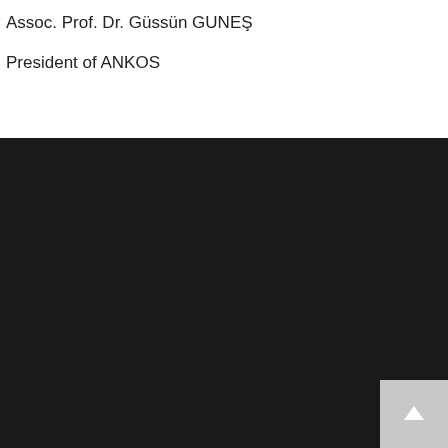Assoc. Prof. Dr. Güssün GUNEŞ
President of ANKOS
[Figure (other): Dark background section occupying the lower two-thirds of the page, with a light gray scroll-to-top button in the bottom-right corner containing an upward arrow icon.]